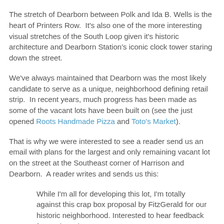The stretch of Dearborn between Polk and Ida B. Wells is the heart of Printers Row.  It's also one of the more interesting visual stretches of the South Loop given it's historic architecture and Dearborn Station's iconic clock tower staring down the street.
We've always maintained that Dearborn was the most likely candidate to serve as a unique, neighborhood defining retail strip.  In recent years, much progress has been made as some of the vacant lots have been built on (see the just opened Roots Handmade Pizza and Toto's Market).
That is why we were interested to see a reader send us an email with plans for the largest and only remaining vacant lot on the street at the Southeast corner of Harrison and Dearborn.  A reader writes and sends us this:
While I'm all for developing this lot, I'm totally against this crap box proposal by FitzGerald for our historic neighborhood. Interested to hear feedback from other Sloopers.